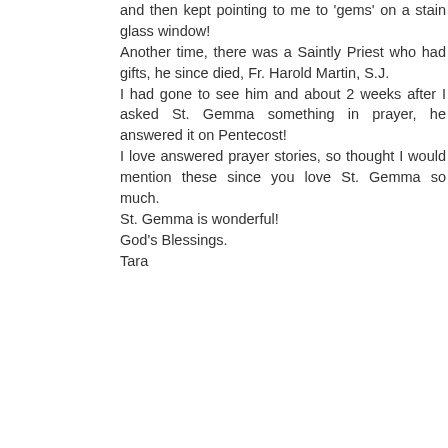and then kept pointing to me to 'gems' on a stain glass window! Another time, there was a Saintly Priest who had gifts, he since died, Fr. Harold Martin, S.J. I had gone to see him and about 2 weeks after I asked St. Gemma something in prayer, he answered it on Pentecost! I love answered prayer stories, so thought I would mention these since you love St. Gemma so much. St. Gemma is wonderful! God's Blessings. Tara
Reply
Glenn Dallaire  October 27, 2008 at 8:55 PM
Mine is not very extraordinary, but it was special to me. Over a period of time, I had read some of the life of St Gemma, and also some of her writings, and I was touched by her words and the love of her heart all on fire with the love of God. Eventually I had the desire to obtain a relic of her, but I was not sure how to go about getting one, so I wrote to several Passionist organizations and individuals